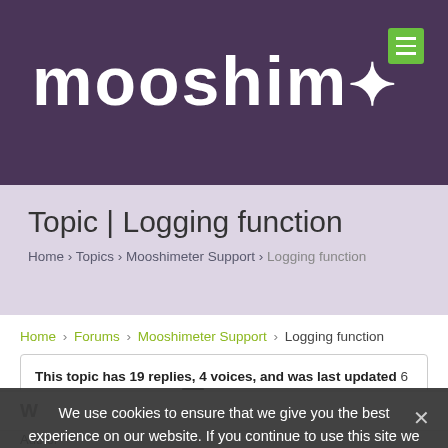[Figure (logo): Mooshim logo with stylized text 'mooshim' and a gear/asterisk icon in white on dark purple background, with a green hamburger menu button top right]
Topic | Logging function
Home › Topics › Mooshimeter Support › Logging function
Home › Forums › Mooshimeter Support › Logging function
This topic has 19 replies, 4 voices, and was last updated 6 years, 3 months ago by admin.
We use cookies to ensure that we give you the best experience on our website. If you continue to use this site we will assume that you are happy with it.
Author
January 26, 2015 at 9:20 pm
#1677